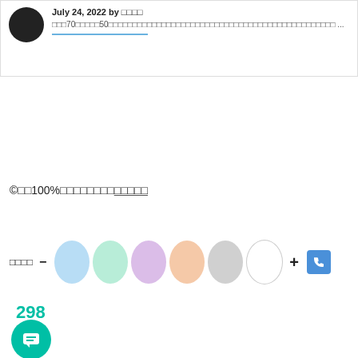July 24, 2022 by □□□□
□□□70□□□□□50□□□□□□□□□□□□□□□□□□□□□□□□□□□□□□□□□□□□□□□□□□□□□□□ ...
©□□100%□□□□□□□□□□□□□
[Figure (illustration): Row of six oval/pill-shaped color swatches (blue, mint, pink/purple, peach, gray, white) with a minus button on the left, a plus button and a blue phone icon button on the right]
298
[Figure (illustration): Teal circular chat/message button with a speech bubble icon]